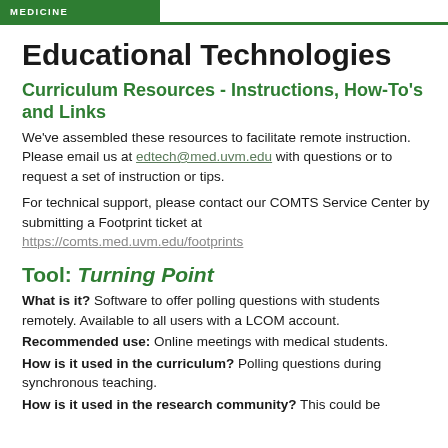MEDICINE
Educational Technologies
Curriculum Resources - Instructions, How-To's and Links
We've assembled these resources to facilitate remote instruction. Please email us at edtech@med.uvm.edu with questions or to request a set of instruction or tips.
For technical support, please contact our COMTS Service Center by submitting a Footprint ticket at https://comts.med.uvm.edu/footprints
Tool: Turning Point
What is it? Software to offer polling questions with students remotely. Available to all users with a LCOM account.
Recommended use: Online meetings with medical students.
How is it used in the curriculum? Polling questions during synchronous teaching.
How is it used in the research community? This could be